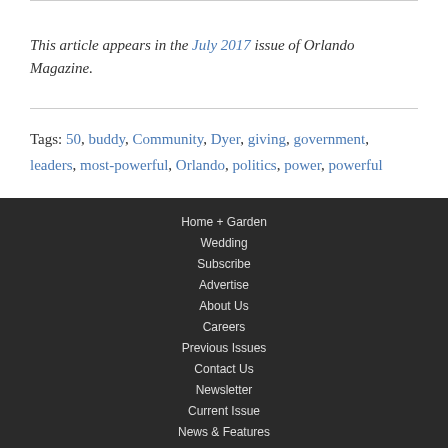This article appears in the July 2017 issue of Orlando Magazine.
Tags: 50, buddy, Community, Dyer, giving, government, leaders, most-powerful, Orlando, politics, power, powerful
Home + Garden
Wedding
Subscribe
Advertise
About Us
Careers
Previous Issues
Contact Us
Newsletter
Current Issue
News & Features
Food & Drink
Arts & Events
Lifestyle